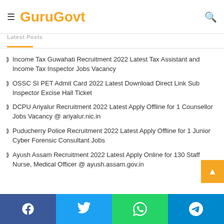GuruGovt — Latest Posts
Income Tax Guwahati Recruitment 2022 Latest Tax Assistant and Income Tax Inspector Jobs Vacancy
OSSC SI PET Admit Card 2022 Latest Download Direct Link Sub Inspector Excise Hall Ticket
DCPU Ariyalur Recruitment 2022 Latest Apply Offline for 1 Counsellor Jobs Vacancy @ ariyalur.nic.in
Puducherry Police Recruitment 2022 Latest Apply Offline for 1 Junior Cyber Forensic Consultant Jobs
Ayush Assam Recruitment 2022 Latest Apply Online for 130 Staff Nurse, Medical Officer @ ayush.assam.gov.in